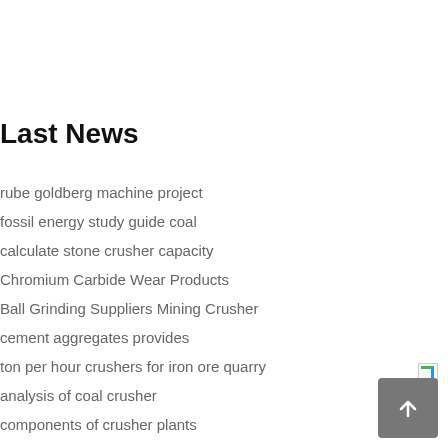Last News
rube goldberg machine project
fossil energy study guide coal
calculate stone crusher capacity
Chromium Carbide Wear Products
Ball Grinding Suppliers Mining Crusher
cement aggregates provides
ton per hour crushers for iron ore quarry
analysis of coal crusher
components of crusher plants
double tub washing machine
feeder system of stone crushing machine
vortex hydrocyclones small
[Figure (illustration): Back to top arrow button (gray square with upward arrow icon)]